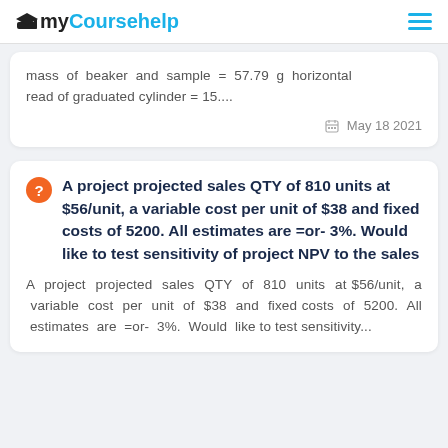myCoursehelp
mass of beaker and sample = 57.79 g horizontal read of graduated cylinder = 15....
May 18 2021
A project projected sales QTY of 810 units at $56/unit, a variable cost per unit of $38 and fixed costs of 5200. All estimates are =or- 3%. Would like to test sensitivity of project NPV to the sales
A project projected sales QTY of 810 units at $56/unit, a variable cost per unit of $38 and fixed costs of 5200. All estimates are =or- 3%. Would like to test sensitivity...